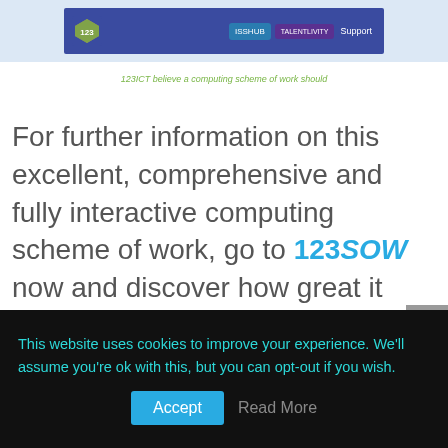[Figure (screenshot): Website navigation bar with logo, ISSHUB button, another button, and Support link on dark blue background]
123ICT believe a computing scheme of work should
For further information on this excellent, comprehensive and fully interactive computing scheme of work, go to 123SOW now and discover how great it really is: https://123sow.co.uk/
This website uses cookies to improve your experience. We'll assume you're ok with this, but you can opt-out if you wish.